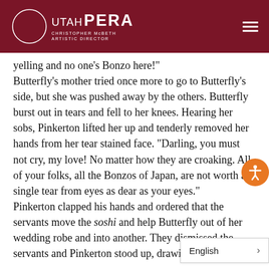UTAH OPERA | CHRISTOPHER McBETH ARTISTIC DIRECTOR
yelling and no one’s Bonzo here!"
Butterfly’s mother tried once more to go to Butterfly’s side, but she was pushed away by the others. Butterfly burst out in tears and fell to her knees. Hearing her sobs, Pinkerton lifted her up and tenderly removed her hands from her tear stained face. “Darling, you must not cry, my love! No matter how they are croaking. All of your folks, all the Bonzos of Japan, are not worth a single tear from eyes as dear as your eyes."
Pinkerton clapped his hands and ordered that the servants move the soshi and help Butterfly out of her wedding robe and into another. They dismissed the servants and Pinkerton stood up, drawing Butterfly closer to him. “Give me your hands so that